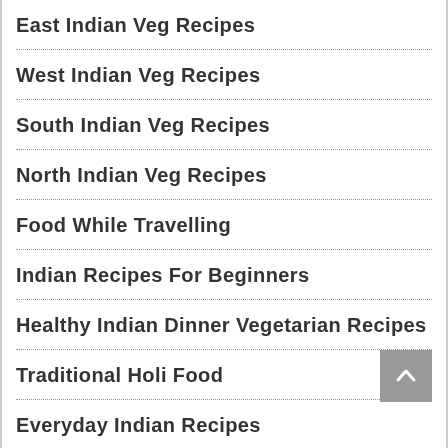East Indian Veg Recipes
West Indian Veg Recipes
South Indian Veg Recipes
North Indian Veg Recipes
Food While Travelling
Indian Recipes For Beginners
Healthy Indian Dinner Vegetarian Recipes
Traditional Holi Food
Everyday Indian Recipes